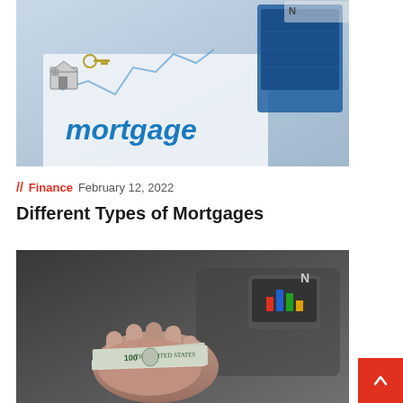[Figure (photo): Photo of a mortgage document with the word 'mortgage' in blue text, a miniature house figurine, keys, a chart/graph in the background, and a tablet or calculator.]
// Finance   February 12, 2022
Different Types of Mortgages
[Figure (photo): Photo of a hand holding a stack of US dollar bills ($100 bills) with a blurred background showing a tablet or monitor with a chart icon.]